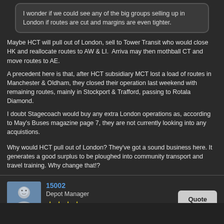I wonder if we could see any of the big groups selling up in London if routes are cut and margins are even tighter.
Maybe HCT will pull out of London, sell to Tower Transit who would close HK and reallocate routes to AW & LI.  Arriva may then mothball CT and move routes to AE.

A precedent here is that, after HCT subsidiary MCT lost a load of routes in Manchester & Oldham, they closed their operation last weekend with remaining routes, mainly in Stockport & Trafford, passing to Rotala Diamond.

I doubt Stagecoach would buy any extra London operations as, according to May's Buses magazine page 7, they are not currently looking into any acquistions.
Why would HCT pull out of London? They've got a sound business here. It generates a good surplus to be ploughed into community transport and travel training. Why change that!?
15002
Depot Manager
Apr 26, 2020 at 8:48pm